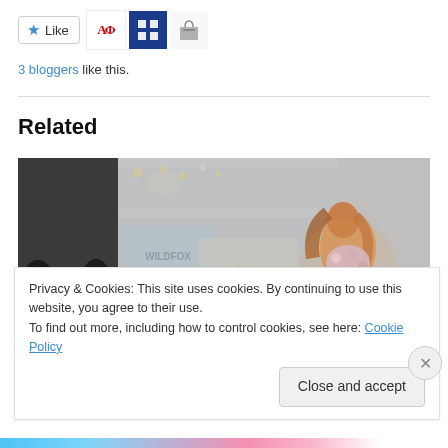[Figure (other): Like button with star icon and three blogger avatar icons]
3 bloggers like this.
Related
[Figure (photo): Fashion show photo showing a model in a floral bikini outfit walking a runway with WILDFOX sign in background and seated audience]
Privacy & Cookies: This site uses cookies. By continuing to use this website, you agree to their use.
To find out more, including how to control cookies, see here: Cookie Policy
Close and accept